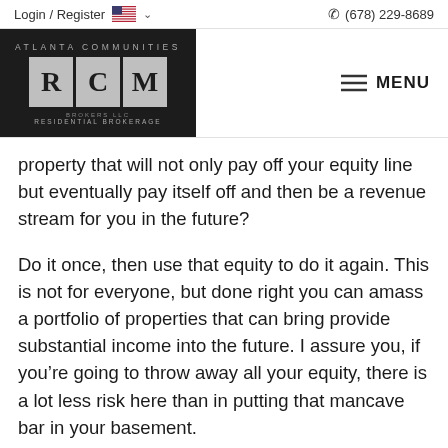Login / Register  (678) 229-8689
[Figure (logo): Atlanta Communities RCM Brokers LLC Residential Brokerage logo — dark background with letter panels R, C, M]
property that will not only pay off your equity line but eventually pay itself off and then be a revenue stream for you in the future?
Do it once, then use that equity to do it again. This is not for everyone, but done right you can amass a portfolio of properties that can bring provide substantial income into the future. I assure you, if you’re going to throw away all your equity, there is a lot less risk here than in putting that mancave bar in your basement.